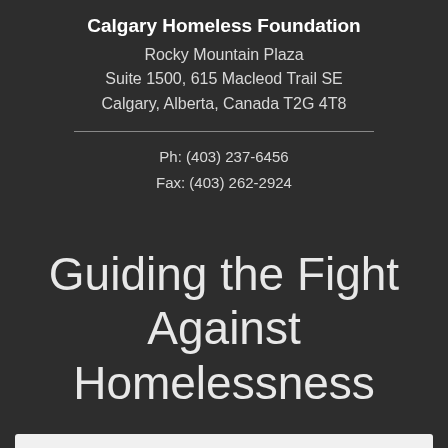Calgary Homeless Foundation
Rocky Mountain Plaza
Suite 1500, 615 Macleod Trail SE
Calgary, Alberta, Canada T2G 4T8
Ph: (403) 237-6456
Fax: (403) 262-2924
Guiding the Fight Against Homelessness